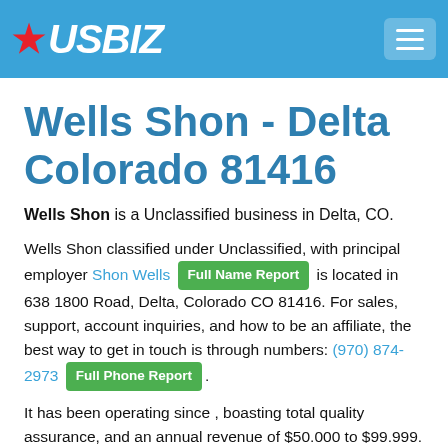USBIZ
Wells Shon - Delta Colorado 81416
Wells Shon is a Unclassified business in Delta, CO.
Wells Shon classified under Unclassified, with principal employer Shon Wells [Full Name Report] is located in 638 1800 Road, Delta, Colorado CO 81416. For sales, support, account inquiries, and how to be an affiliate, the best way to get in touch is through numbers: (970) 874-2973 [Full Phone Report].
It has been operating since , boasting total quality assurance, and an annual revenue of $50.000 to $99.999. Their Single Location can be reached with the use of the following coordinates: . They currently have 1 to 4 employees, and you can learn more about their offerings at .
You can also view their clients' testimonials, government